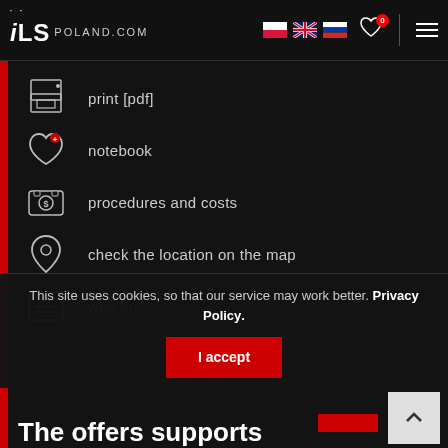ILS POLAND.COM
print [pdf]
notebook
procedures and costs
check the location on the map
why buy
This site uses cookies, so that our service may work better. Privacy Policy.
I accept
The offers supports